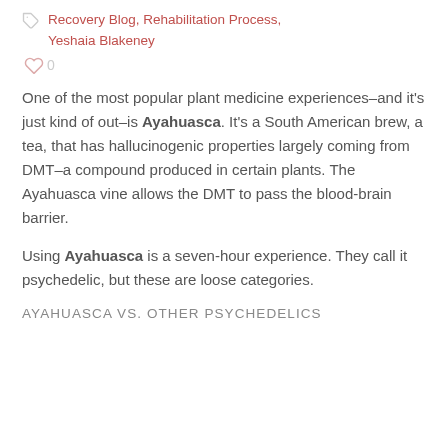Recovery Blog, Rehabilitation Process, Yeshaia Blakeney
0
One of the most popular plant medicine experiences–and it's just kind of out–is Ayahuasca. It's a South American brew, a tea, that has hallucinogenic properties largely coming from DMT–a compound produced in certain plants. The Ayahuasca vine allows the DMT to pass the blood-brain barrier.
Using Ayahuasca is a seven-hour experience. They call it psychedelic, but these are loose categories.
AYAHUASCA VS. OTHER PSYCHEDELICS